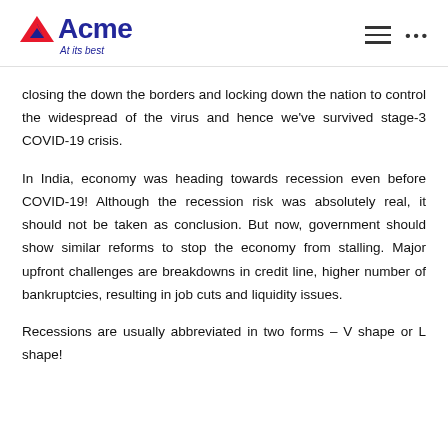Acme — At its best
closing the down the borders and locking down the nation to control the widespread of the virus and hence we've survived stage-3 COVID-19 crisis.
In India, economy was heading towards recession even before COVID-19! Although the recession risk was absolutely real, it should not be taken as conclusion. But now, government should show similar reforms to stop the economy from stalling. Major upfront challenges are breakdowns in credit line, higher number of bankruptcies, resulting in job cuts and liquidity issues.
Recessions are usually abbreviated in two forms – V shape or L shape!